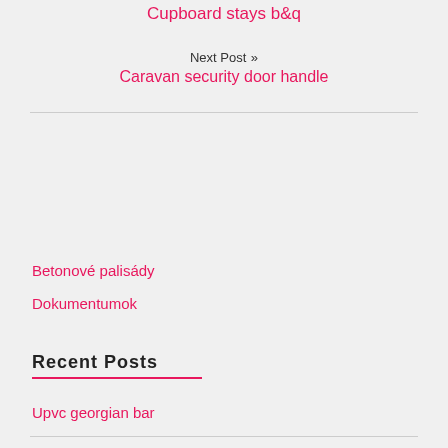Cupboard stays b&q
Next Post »
Caravan security door handle
Betonové palisády
Dokumentumok
Recent Posts
Upvc georgian bar